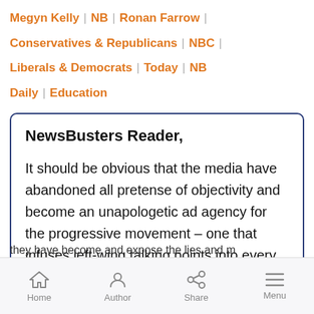Megyn Kelly | NB | Ronan Farrow | Conservatives & Republicans | NBC | Liberals & Democrats | Today | NB Daily | Education
NewsBusters Reader,

It should be obvious that the media have abandoned all pretense of objectivity and become an unapologetic ad agency for the progressive movement – one that infuses left-wing talking points into every issue, from the economic collapse to the energy crisis.

They're not even trying to get it right anymore.
Home | Author | Share | Menu